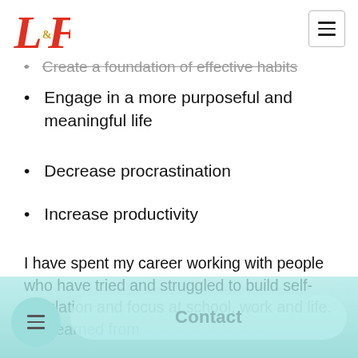L&F logo and navigation menu
Create a foundation of effective habits
Engage in a more purposeful and meaningful life
Decrease procrastination
Increase productivity
I have spent my career working with people who have tried and struggled to build self-regulation and focus at school, work and life. I've learned from work convinced by their own personal research, he